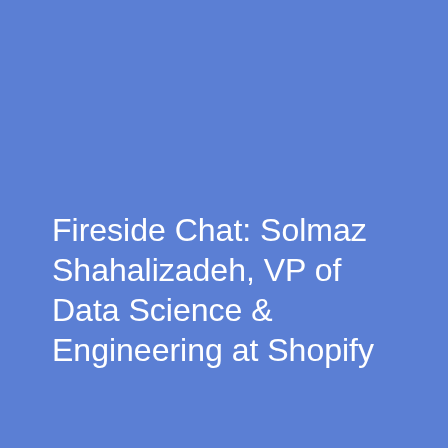Fireside Chat: Solmaz Shahalizadeh, VP of Data Science & Engineering at Shopify